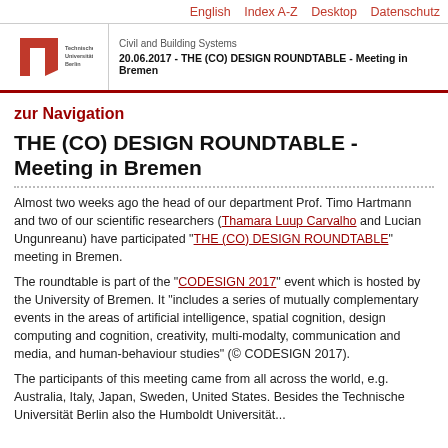English  Index A-Z  Desktop  Datenschutz
[Figure (logo): Technische Universität Berlin red TU logo with stylized arrow/T mark]
Civil and Building Systems
20.06.2017 - THE (CO) DESIGN ROUNDTABLE - Meeting in Bremen
zur Navigation
THE (CO) DESIGN ROUNDTABLE - Meeting in Bremen
Almost two weeks ago the head of our department Prof. Timo Hartmann and two of our scientific researchers (Thamara Luup Carvalho and Lucian Ungunreanu) have participated "THE (CO) DESIGN ROUNDTABLE" meeting in Bremen.
The roundtable is part of the "CODESIGN 2017" event which is hosted by the University of Bremen. It "includes a series of mutually complementary events in the areas of artificial intelligence, spatial cognition, design computing and cognition, creativity, multi-modalty, communication and media, and human-behaviour studies" (© CODESIGN 2017).
The participants of this meeting came from all across the world, e.g. Australia, Italy, Japan, Sweden, United States. Besides the Technische Universität Berlin also the Humboldt Universität...